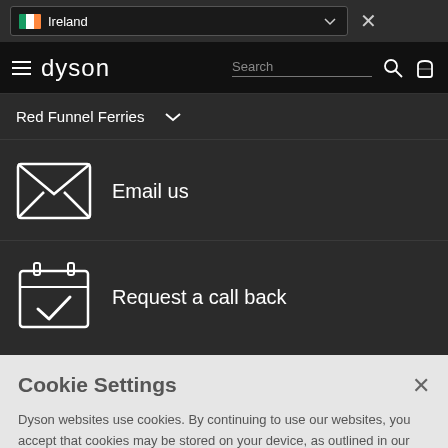[Figure (screenshot): Country selector dropdown showing Ireland flag and text, with chevron and close X button]
dyson — navigation bar with hamburger menu, search box, search icon, and basket icon
Red Funnel Ferries
[Figure (illustration): Email envelope icon]
Email us
[Figure (illustration): Calendar with checkmark icon]
Request a call back
Cookie Settings
Dyson websites use cookies. By continuing to use our websites, you accept that cookies may be stored on your device, as outlined in our Cookie Policy